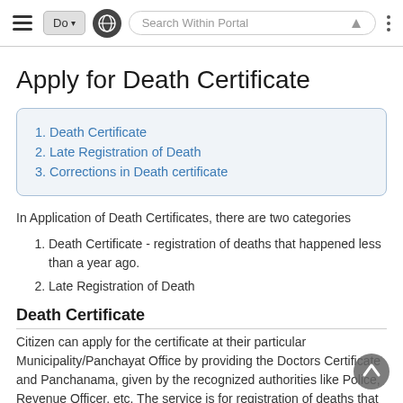Do ▾  [globe]  Search Within Portal  ⋮
Apply for Death Certificate
| 1. Death Certificate |
| 2. Late Registration of Death |
| 3. Corrections in Death certificate |
In Application of Death Certificates, there are two categories
Death Certificate - registration of deaths that happened less than a year ago.
Late Registration of Death
Death Certificate
Citizen can apply for the certificate at their particular Municipality/Panchayat Office by providing the Doctors Certificate and Panchanama, given by the recognized authorities like Police, Revenue Officer, etc. The service is for registration of deaths that happened less